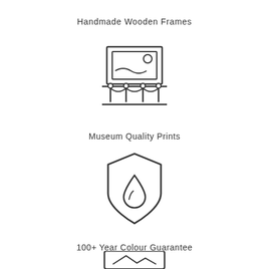Handmade Wooden Frames
[Figure (illustration): Icon of a framed picture on a wall with museum rope barriers below it]
Museum Quality Prints
[Figure (illustration): Shield icon with a water droplet inside, representing colour protection guarantee]
100+ Year Colour Guarantee
[Figure (illustration): Partial icon at bottom — appears to be a framed image icon, cut off at page bottom]
[Figure (other): Shopping cart button with badge showing count 0, positioned in the lower right area]